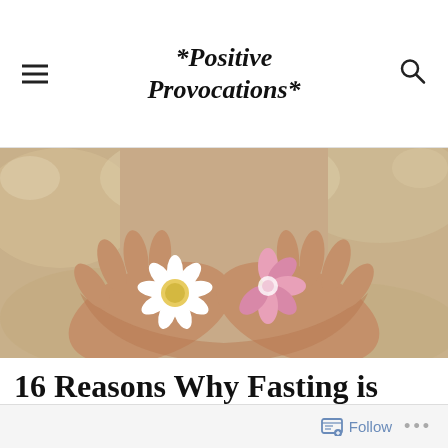*Positive Provocations*
[Figure (photo): Two hands cupped together holding a white daisy and a pink flower, with a soft bokeh green and beige background.]
16 Reasons Why Fasting is Spiritually and Physically Beneficial
Follow ...